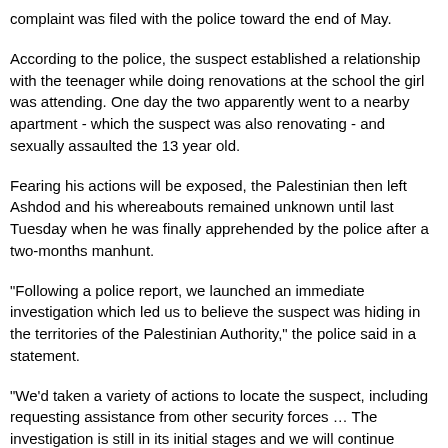complaint was filed with the police toward the end of May.
According to the police, the suspect established a relationship with the teenager while doing renovations at the school the girl was attending. One day the two apparently went to a nearby apartment - which the suspect was also renovating - and sexually assaulted the 13 year old.
Fearing his actions will be exposed, the Palestinian then left Ashdod and his whereabouts remained unknown until last Tuesday when he was finally apprehended by the police after a two-months manhunt.
"Following a police report, we launched an immediate investigation which led us to believe the suspect was hiding in the territories of the Palestinian Authority," the police said in a statement.
"We'd taken a variety of actions to locate the suspect, including requesting assistance from other security forces … The investigation is still in its initial stages and we will continue taking the necessary actions in order to get to the truth," the police added.
IOA re-detains Jerusalemite prisoner after his release